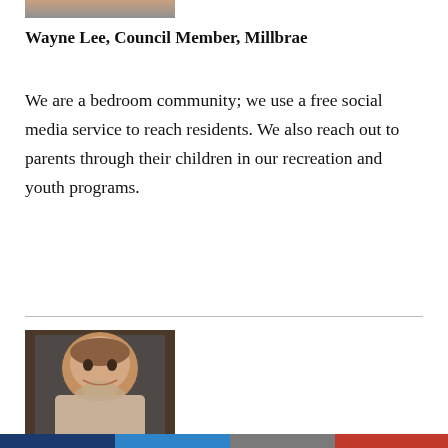[Figure (photo): Partial photo of a person visible at top of page, cropped]
Wayne Lee, Council Member, Millbrae
We are a bedroom community; we use a free social media service to reach residents. We also reach out to parents through their children in our recreation and youth programs.
[Figure (photo): Portrait photo of a middle-aged bald man with a gray beard, smiling, wearing casual attire]